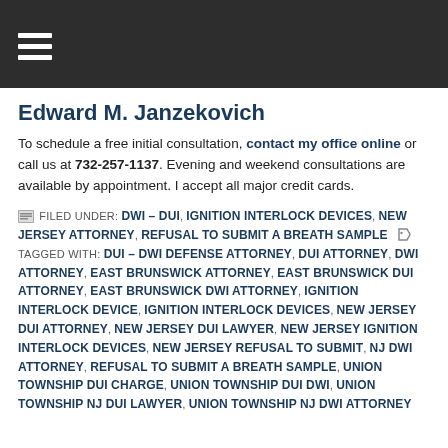≡ (navigation menu icon)
Edward M. Janzekovich
To schedule a free initial consultation, contact my office online or call us at 732-257-1137. Evening and weekend consultations are available by appointment. I accept all major credit cards.
FILED UNDER: DWI – DUI, IGNITION INTERLOCK DEVICES, NEW JERSEY ATTORNEY, REFUSAL TO SUBMIT A BREATH SAMPLE  TAGGED WITH: DUI – DWI DEFENSE ATTORNEY, DUI ATTORNEY, DWI ATTORNEY, EAST BRUNSWICK ATTORNEY, EAST BRUNSWICK DUI ATTORNEY, EAST BRUNSWICK DWI ATTORNEY, IGNITION INTERLOCK DEVICE, IGNITION INTERLOCK DEVICES, NEW JERSEY DUI ATTORNEY, NEW JERSEY DUI LAWYER, NEW JERSEY IGNITION INTERLOCK DEVICES, NEW JERSEY REFUSAL TO SUBMIT, NJ DWI ATTORNEY, REFUSAL TO SUBMIT A BREATH SAMPLE, UNION TOWNSHIP DUI CHARGE, UNION TOWNSHIP DUI DWI, UNION TOWNSHIP NJ DUI LAWYER, UNION TOWNSHIP NJ DWI ATTORNEY